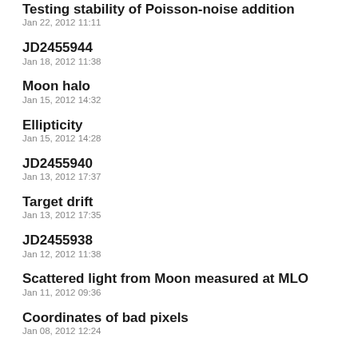Testing stability of Poisson-noise addition
Jan 22, 2012 11:11
JD2455944
Jan 18, 2012 11:38
Moon halo
Jan 15, 2012 14:32
Ellipticity
Jan 15, 2012 14:28
JD2455940
Jan 13, 2012 17:37
Target drift
Jan 13, 2012 17:35
JD2455938
Jan 12, 2012 11:38
Scattered light from Moon measured at MLO
Jan 11, 2012 09:36
Coordinates of bad pixels
Jan 08, 2012 12:24